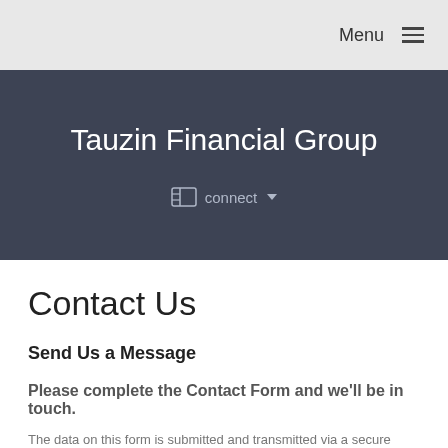Menu
Tauzin Financial Group
connect
Contact Us
Send Us a Message
Please complete the Contact Form and we'll be in touch.
The data on this form is submitted and transmitted via a secure connection